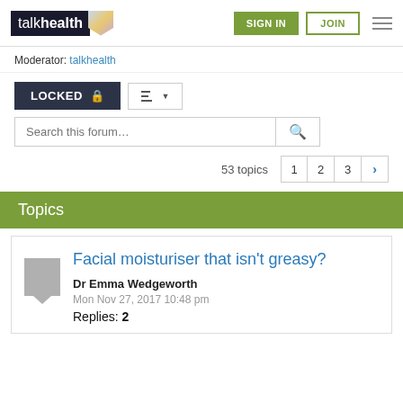[Figure (screenshot): talkhealth website header with logo, SIGN IN button, JOIN button, and hamburger menu]
Moderator: talkhealth
LOCKED 🔒
Search this forum…
53 topics  1  2  3  >
Topics
Facial moisturiser that isn't greasy?
Dr Emma Wedgeworth
Mon Nov 27, 2017 10:48 pm
Replies: 2